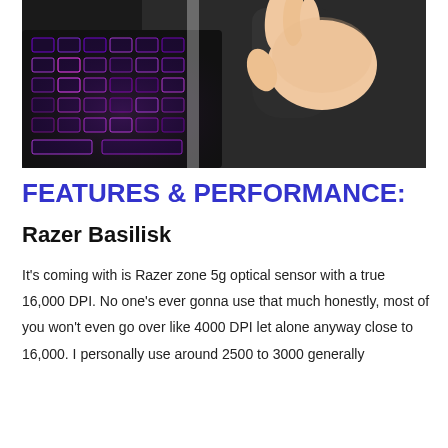[Figure (photo): Close-up photo of a hand holding a black gaming mouse on a mousepad, with a purple/pink RGB backlit keyboard visible in the lower left.]
FEATURES & PERFORMANCE:
Razer Basilisk
It's coming with is Razer zone 5g optical sensor with a true 16,000 DPI. No one's ever gonna use that much honestly, most of you won't even go over like 4000 DPI let alone anyway close to 16,000. I personally use around 2500 to 3000 generally